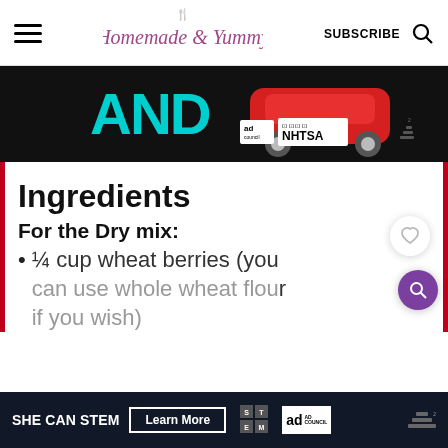Homemade & Yummy — SUBSCRIBE
[Figure (photo): Ad banner showing the word AND in cyan text with a red car illustration, ad council and NHTSA logos on black background]
Ingredients
For the Dry mix:
¼ cup wheat berries (you can use whole wheat flour if you wish)
[Figure (photo): Ad banner for SHE CAN STEM with Learn More button, STEM grid logo, and Ad Council badge on dark background]